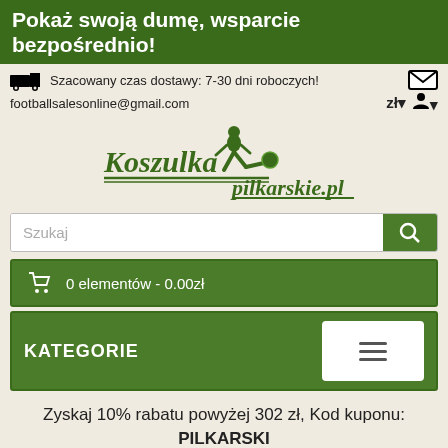Pokaż swoją dumę, wsparcie bezpośrednio!
Szacowany czas dostawy: 7-30 dni roboczych!
footballsalesonline@gmail.com
[Figure (logo): Koszulka pilkarskie.pl logo with football player kicking]
Szukaj
0 elementów - 0.00zł
KATEGORIE
Zyskaj 10% rabatu powyżej 302 zł, Kod kuponu: PILKARSKI
/ 2015-16 Adidas Popular Piłki Biały Czerwony /
Tweet